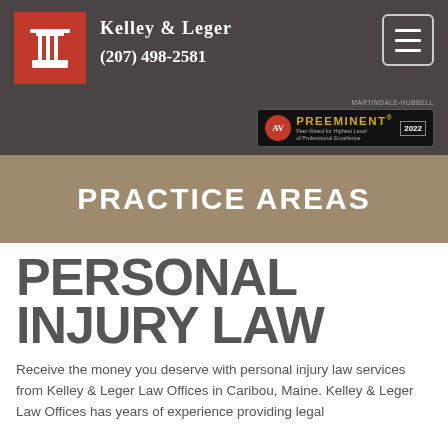Kelley & Leger (207) 498-2581
[Figure (logo): Red square logo with white Greek column/pillar icon — Kelley & Leger law firm logo]
[Figure (logo): AV Preeminent rating badge — Peer Rated for Highest Level of Professional Excellence 2022]
PRACTICE AREAS
PERSONAL INJURY LAW
Receive the money you deserve with personal injury law services from Kelley & Leger Law Offices in Caribou, Maine. Kelley & Leger Law Offices has years of experience providing legal